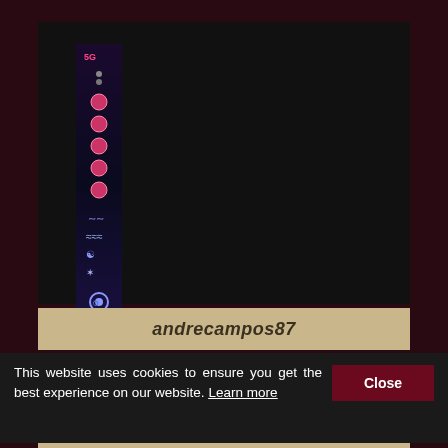[Figure (screenshot): A dark screenshot of a website/app showing a sidebar with purple and blue glowing circular icons on the left, a large dark main content area, and a beige/tan username bar at the bottom displaying 'andrecampos87' in bold italic text.]
andrecampos87
This website uses cookies to ensure you get the best experience on our website. Learn more
Close